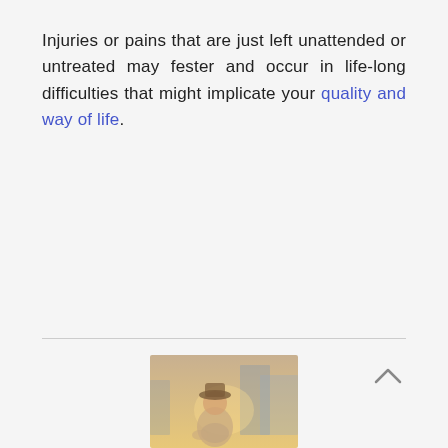Injuries or pains that are just left unattended or untreated may fester and occur in life-long difficulties that might implicate your quality and way of life.
[Figure (photo): A person wearing a hat, outdoors in an urban setting, partially blurred]